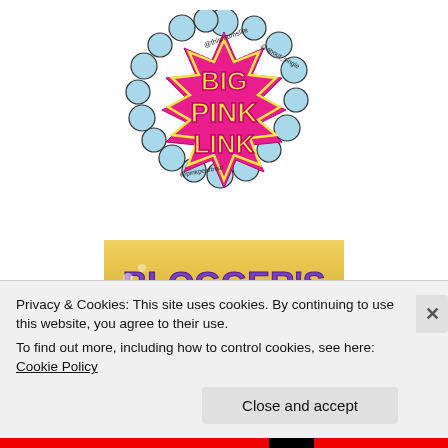[Figure (logo): Big Pink Link logo - colorful hand-drawn style badge with cloud/bubble border and pink starburst. Text reads 'Big Pink Link' with social media handles @thismumslife, @about_single, @pinkpearbear]
[Figure (logo): Blogger's Pit Stop Featured Winner badge - gold/yellow background with polka-dot styled text 'BLOGGER'S PIT STOP', pink text 'Featured', gold text 'Winner', checkered racing flag graphic]
Privacy & Cookies: This site uses cookies. By continuing to use this website, you agree to their use.
To find out more, including how to control cookies, see here: Cookie Policy